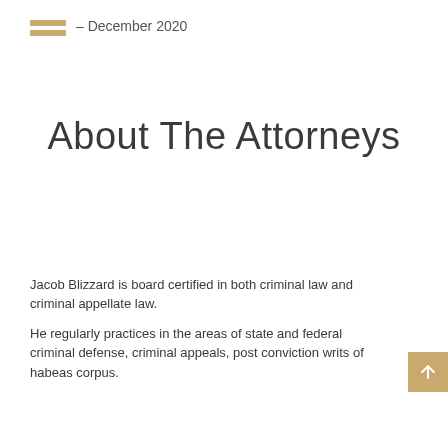– December 2020
About The Attorneys
Jacob Blizzard is board certified in both criminal law and criminal appellate law.
He regularly practices in the areas of state and federal criminal defense, criminal appeals, post conviction writs of habeas corpus.